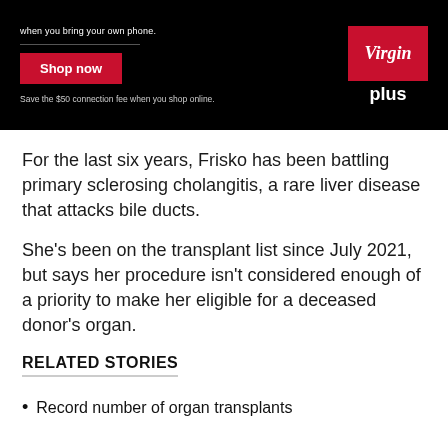[Figure (screenshot): Virgin Plus advertisement banner with black background, red 'Shop now' button, and Virgin Plus logo]
For the last six years, Frisko has been battling primary sclerosing cholangitis, a rare liver disease that attacks bile ducts.
She's been on the transplant list since July 2021, but says her procedure isn't considered enough of a priority to make her eligible for a deceased donor's organ.
RELATED STORIES
Record number of organ transplants